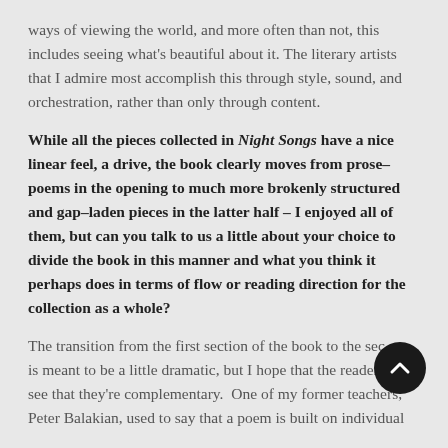ways of viewing the world, and more often than not, this includes seeing what's beautiful about it. The literary artists that I admire most accomplish this through style, sound, and orchestration, rather than only through content.
While all the pieces collected in Night Songs have a nice linear feel, a drive, the book clearly moves from prose-poems in the opening to much more brokenly structured and gap-laden pieces in the latter half – I enjoyed all of them, but can you talk to us a little about your choice to divide the book in this manner and what you think it perhaps does in terms of flow or reading direction for the collection as a whole?
The transition from the first section of the book to the second is meant to be a little dramatic, but I hope that the readers see that they're complementary.  One of my former teachers, Peter Balakian, used to say that a poem is built on individual